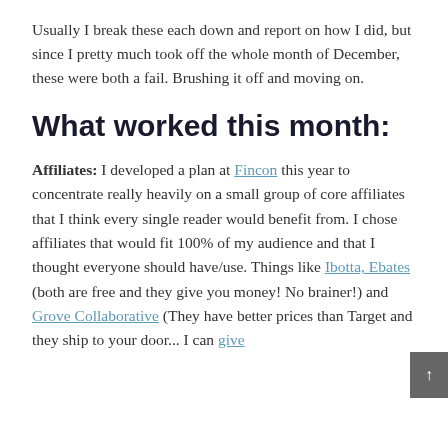Usually I break these each down and report on how I did, but since I pretty much took off the whole month of December, these were both a fail. Brushing it off and moving on.
What worked this month:
Affiliates: I developed a plan at Fincon this year to concentrate really heavily on a small group of core affiliates that I think every single reader would benefit from. I chose affiliates that would fit 100% of my audience and that I thought everyone should have/use. Things like Ibotta, Ebates (both are free and they give you money! No brainer!) and Grove Collaborative (They have better prices than Target and they ship to your door... I can give